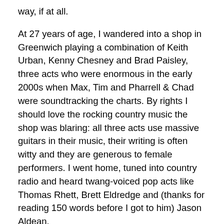way, if at all.
At 27 years of age, I wandered into a shop in Greenwich playing a combination of Keith Urban, Kenny Chesney and Brad Paisley, three acts who were enormous in the early 2000s when Max, Tim and Pharrell & Chad were soundtracking the charts. By rights I should love the rocking country music the shop was blaring: all three acts use massive guitars in their music, their writing is often witty and they are generous to female performers. I went home, tuned into country radio and heard twang-voiced pop acts like Thomas Rhett, Brett Eldredge and (thanks for reading 150 words before I got to him) Jason Aldean.
Aldean will always be known to most people as the guy who was on stage in Las Vegas in 2017 when a killer opened fire at the Route 91 Harvest festival. He may also